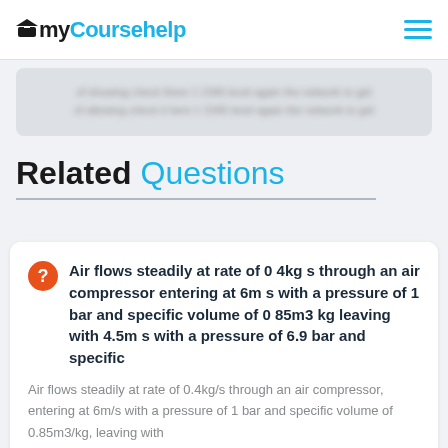myCoursehelp
[blurred/obscured previous content]
Related Questions
Air flows steadily at rate of 0 4kg s through an air compressor entering at 6m s with a pressure of 1 bar and specific volume of 0 85m3 kg leaving with 4.5m s with a pressure of 6.9 bar and specific
Air flows steadily at rate of 0.4kg/s through an air compressor, entering at 6m/s with a pressure of 1 bar and specific volume of 0.85m3/kg, leaving with